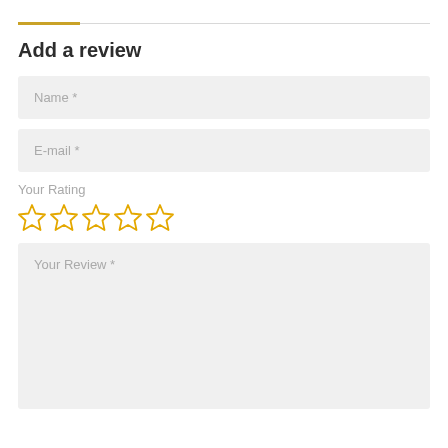Add a review
Name *
E-mail *
Your Rating
[Figure (other): Five empty star rating icons in golden/yellow outline color]
Your Review *